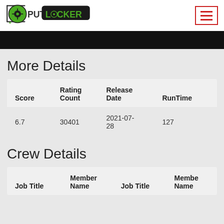[Figure (logo): PutLocker logo with film reel icon and text PUT LOCKER]
[Figure (other): Hamburger menu button with red border]
[Figure (other): Black banner strip]
More Details
| Score | Rating Count | Release Date | RunTime |
| --- | --- | --- | --- |
| 6.7 | 30401 | 2021-07-28 | 127 |
Crew Details
| Job Title | Member Name | Job Title | Member Name |
| --- | --- | --- | --- |